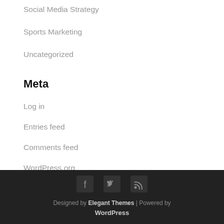Social Media Strategy
Sports Marketing
Uncategorized
Meta
Log in
Entries feed
Comments feed
WordPress.org
Designed by Elegant Themes | Powered by WordPress